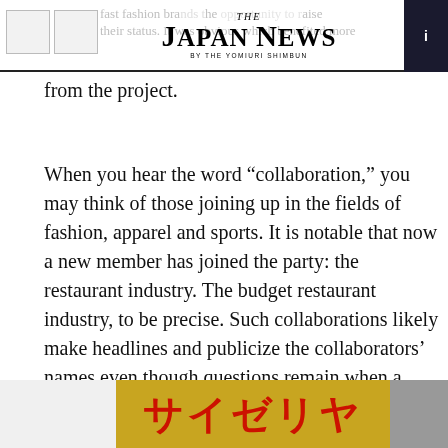THE JAPAN NEWS BY THE YOMIURI SHIMBUN
fast fashion brands the opportunity to raise their status. It was obvious which benefited more from the project.
When you hear the word “collaboration,” you may think of those joining up in the fields of fashion, apparel and sports. It is notable that now a new member has joined the party: the restaurant industry. The budget restaurant industry, to be precise. Such collaborations likely make headlines and publicize the collaborators’ names even though questions remain when a brand’s image is taken into consideration.
[Figure (photo): Bottom strip showing a yellow/golden background with red Japanese katakana text reading Saizeriya (サイゼリヤ), a budget Italian restaurant chain in Japan.]